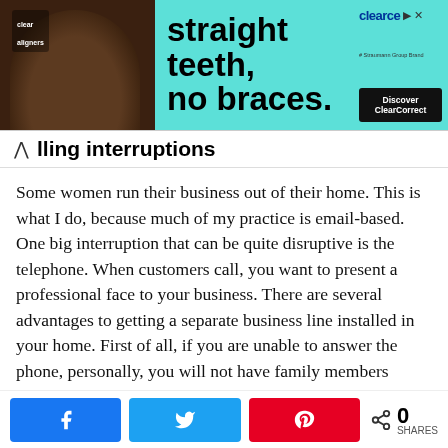[Figure (illustration): Advertisement banner for ClearCorrect clear aligners showing a smiling Black woman, with text 'straight teeth, no braces.' and 'Discover ClearCorrect' button on a teal background.]
lling interruptions
Some women run their business out of their home. This is what I do, because much of my practice is email-based. One big interruption that can be quite disruptive is the telephone. When customers call, you want to present a professional face to your business. There are several advantages to getting a separate business line installed in your home. First of all, if you are unable to answer the phone, personally, you will not have family members answering. Just imagine your 7 year old answering the phone... Or your husband takes a message and then loses the number or wrote it down wrong. These two examples
[Figure (infographic): Social share bar with Facebook, Twitter, and Pinterest share buttons, plus a share count showing 0 SHARES.]